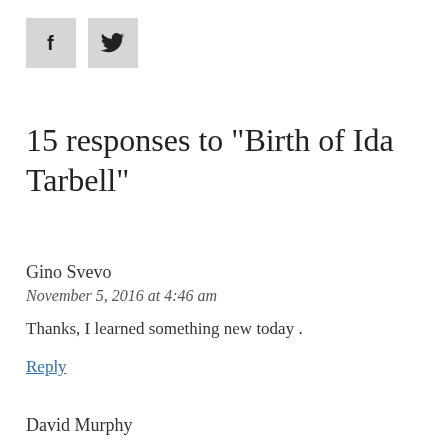[Figure (other): Facebook and Twitter social share icon buttons (grey square boxes with f and bird icons)]
15 responses to "Birth of Ida Tarbell"
Gino Svevo
November 5, 2016 at 4:46 am
Thanks, I learned something new today .
Reply
David Murphy